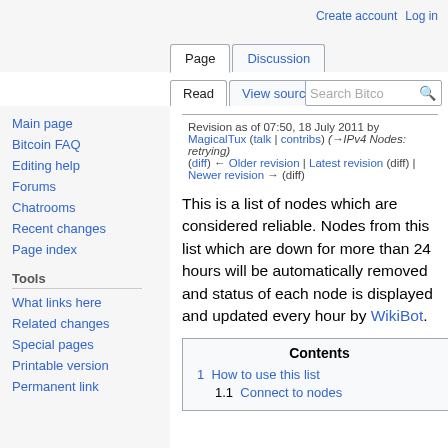Create account  Log in
Page  Discussion
Read  View source  View history  Search Bitco [search button]
Main page
Bitcoin FAQ
Editing help
Forums
Chatrooms
Recent changes
Page index
Tools
What links here
Related changes
Special pages
Printable version
Permanent link
Revision as of 07:50, 18 July 2011 by MagicalTux (talk | contribs) (→IPv4 Nodes: retrying) (diff) ← Older revision | Latest revision (diff) | Newer revision → (diff)
This is a list of nodes which are considered reliable. Nodes from this list which are down for more than 24 hours will be automatically removed and status of each node is displayed and updated every hour by WikiBot.
| Contents |
| --- |
| 1  How to use this list |
| 1.1  Connect to nodes |